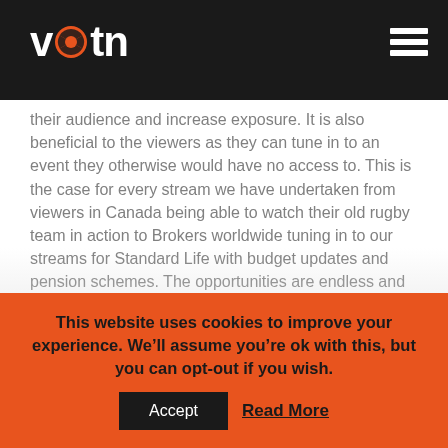votn
their audience and increase exposure. It is also beneficial to the viewers as they can tune in to an event they otherwise would have no access to. This is the case for every stream we have undertaken from viewers in Canada being able to watch their old rugby team in action to Brokers worldwide tuning in to our streams for Standard Life with budget updates and pension schemes. The opportunities are endless and the diversity in our streams has shown that the answer to the question of ‘Who can benefit from streaming’ is just about anyone looking to reach beyond geographical limits.
This website uses cookies to improve your experience. We’ll assume you’re ok with this, but you can opt-out if you wish.